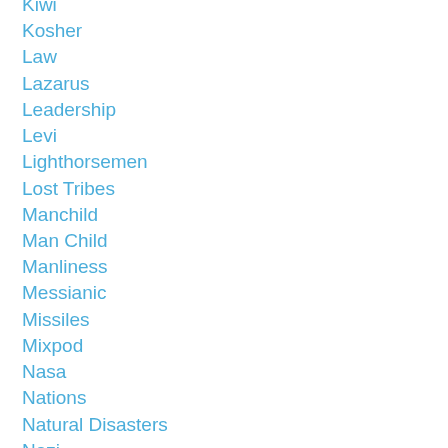Kiwi
Kosher
Law
Lazarus
Leadership
Levi
Lighthorsemen
Lost Tribes
Manchild
Man Child
Manliness
Messianic
Missiles
Mixpod
Nasa
Nations
Natural Disasters
Nazi
New Zealand
Nuclear
Nwo